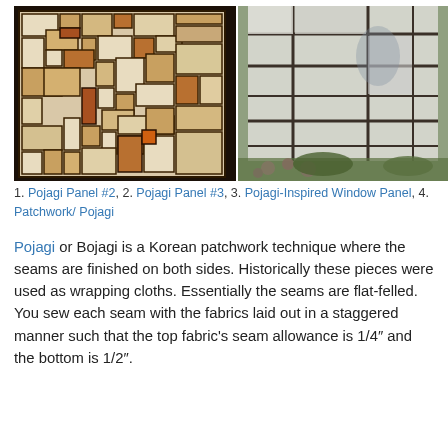[Figure (photo): Two photos side by side: left shows a framed patchwork panel with geometric squares in warm earth tones (beige, brown, orange) reminiscent of stained glass or Mondrian; right shows a white fabric window panel with dark seam lines hanging outdoors with flowers in the background.]
1. Pojagi Panel #2, 2. Pojagi Panel #3, 3. Pojagi-Inspired Window Panel, 4. Patchwork/ Pojagi
Pojagi or Bojagi is a Korean patchwork technique where the seams are finished on both sides. Historically these pieces were used as wrapping cloths. Essentially the seams are flat-felled. You sew each seam with the fabrics laid out in a staggered manner such that the top fabric's seam allowance is 1/4″ and the bottom is 1/2″.